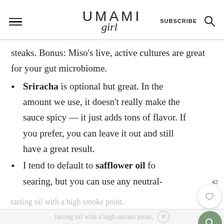UMAMI girl | SUBSCRIBE
steaks. Bonus: Miso's live, active cultures are great for your gut microbiome.
Sriracha is optional but great. In the amount we use, it doesn't really make the sauce spicy — it just adds tons of flavor. If you prefer, you can leave it out and still have a great result.
I tend to default to safflower oil for searing, but you can use any neutral-
tasting oil with a high smoke point.